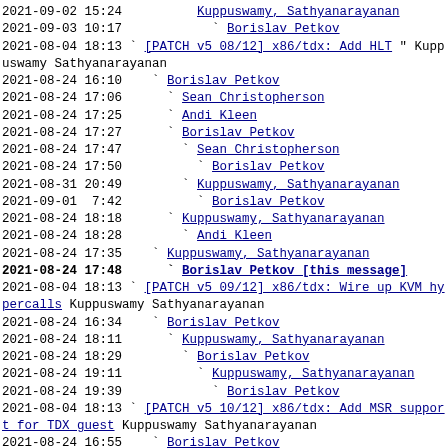2021-09-02 15:24    Kuppuswamy, Sathyanarayanan
2021-09-03 10:17      ` Borislav Petkov
2021-08-04 18:13 ` [PATCH v5 08/12] x86/tdx: Add HLT " Kuppuswamy Sathyanarayanan
2021-08-24 16:10    ` Borislav Petkov
2021-08-24 17:06      ` Sean Christopherson
2021-08-24 17:25      ` Andi Kleen
2021-08-24 17:27      ` Borislav Petkov
2021-08-24 17:47        ` Sean Christopherson
2021-08-24 17:50          ` Borislav Petkov
2021-08-31 20:49        ` Kuppuswamy, Sathyanarayanan
2021-09-01  7:42          ` Borislav Petkov
2021-08-24 18:18      ` Kuppuswamy, Sathyanarayanan
2021-08-24 18:28        ` Andi Kleen
2021-08-24 17:35    ` Kuppuswamy, Sathyanarayanan
2021-08-24 17:48      ` Borislav Petkov [this message]
2021-08-04 18:13 ` [PATCH v5 09/12] x86/tdx: Wire up KVM hypercalls Kuppuswamy Sathyanarayanan
2021-08-24 16:34    ` Borislav Petkov
2021-08-24 18:11      ` Kuppuswamy, Sathyanarayanan
2021-08-24 18:29        ` Borislav Petkov
2021-08-24 19:11          ` Kuppuswamy, Sathyanarayanan
2021-08-24 19:39            ` Borislav Petkov
2021-08-04 18:13 ` [PATCH v5 10/12] x86/tdx: Add MSR support for TDX guest Kuppuswamy Sathyanarayanan
2021-08-24 16:55    ` Borislav Petkov
2021-08-24 18:12      ` Kuppuswamy, Sathyanarayanan
2021-08-04 18:13 ` [PATCH v5 11/12] x86/tdx: Don't write CSTAR MSR on Intel Kuppuswamy Sathyanarayanan
2021-08-04 18:31    ` Sean Christopherson